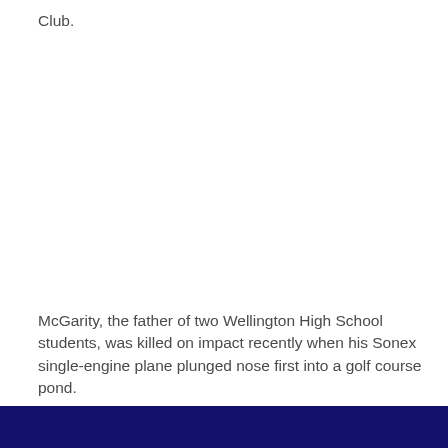Club.
McGarity, the father of two Wellington High School students, was killed on impact recently when his Sonex single-engine plane plunged nose first into a golf course pond.